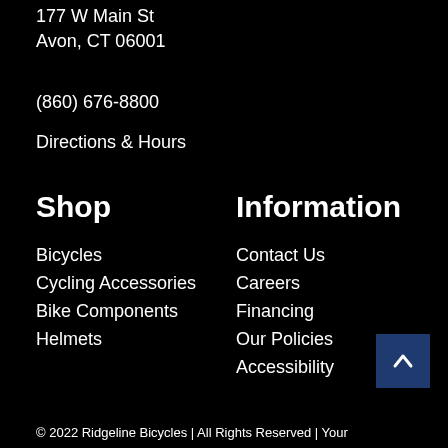177 W Main St
Avon, CT 06001
(860) 676-8800
Directions & Hours
Shop
Bicycles
Cycling Accessories
Bike Components
Helmets
Information
Contact Us
Careers
Financing
Our Policies
Accessibility
© 2022 Ridgeline Bicycles | All Rights Reserved | Your